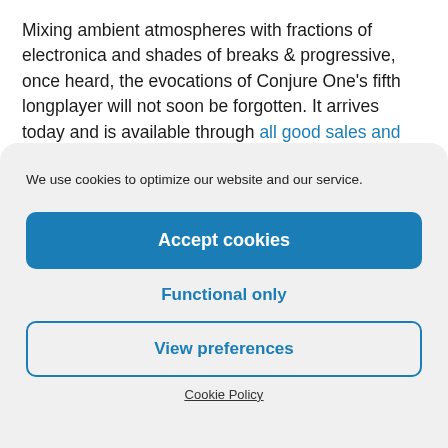Mixing ambient atmospheres with fractions of electronica and shades of breaks & progressive, once heard, the evocations of Conjure One's fifth longplayer will not soon be forgotten. It arrives today and is available through all good sales and streaming sites.
Tracklist
We use cookies to optimize our website and our service.
Accept cookies
Functional only
View preferences
Cookie Policy